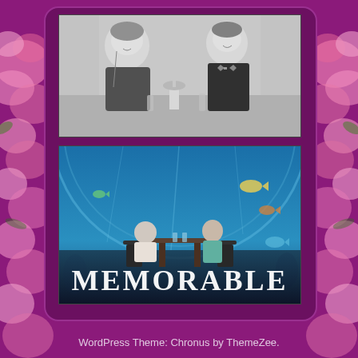[Figure (photo): Black and white vintage photo of a man and woman seated at a restaurant/dinner table, both in formal attire, smiling]
[Figure (photo): Color photo of a couple dining at an underwater restaurant with aquarium glass walls and blue ocean/fish visible, overlaid with text MEMORABLE in large white serif letters]
WordPress Theme: Chronus by ThemeZee.